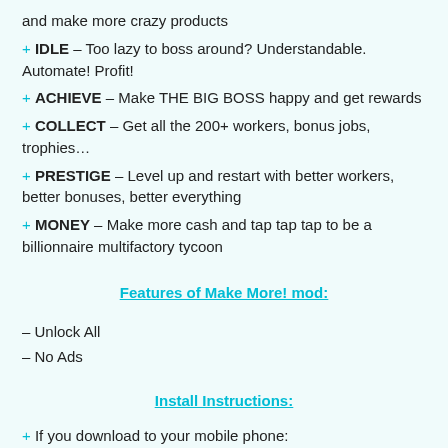and make more crazy products
+ IDLE – Too lazy to boss around? Understandable. Automate! Profit!
+ ACHIEVE – Make THE BIG BOSS happy and get rewards
+ COLLECT – Get all the 200+ workers, bonus jobs, trophies…
+ PRESTIGE – Level up and restart with better workers, better bonuses, better everything
+ MONEY – Make more cash and tap tap tap to be a billionnaire multifactory tycoon
Features of Make More! mod:
– Unlock All
– No Ads
Install Instructions:
+ If you download to your mobile phone:
– After downloading, it's necessary to install it.